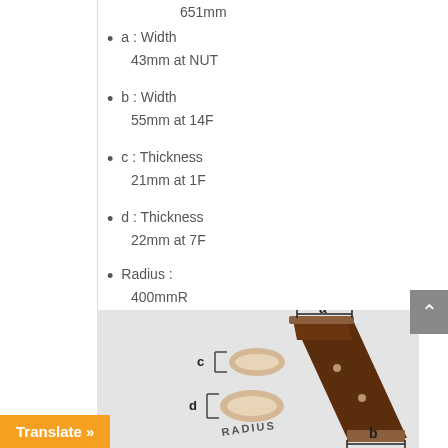651mm
a : Width
43mm at NUT
b : Width
55mm at 14F
c : Thickness
21mm at 1F
d : Thickness
22mm at 7F
Radius :
400mmR
[Figure (engineering-diagram): Technical diagram of a guitar neck/fingerboard showing cross-section dimensions labeled a (width at nut), b (width at 14F), c (thickness at 1F), d (thickness at 7F), and RADIUS. The diagram shows the neck from an angled perspective with two cross-section oval profiles labeled c and d on the left side, and dimension markers a and b at top and bottom.]